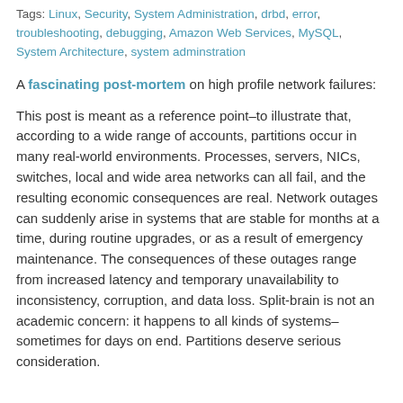Tags: Linux, Security, System Administration, drbd, error, troubleshooting, debugging, Amazon Web Services, MySQL, System Architecture, system adminstration
A fascinating post-mortem on high profile network failures:
This post is meant as a reference point–to illustrate that, according to a wide range of accounts, partitions occur in many real-world environments. Processes, servers, NICs, switches, local and wide area networks can all fail, and the resulting economic consequences are real. Network outages can suddenly arise in systems that are stable for months at a time, during routine upgrades, or as a result of emergency maintenance. The consequences of these outages range from increased latency and temporary unavailability to inconsistency, corruption, and data loss. Split-brain is not an academic concern: it happens to all kinds of systems–sometimes for days on end. Partitions deserve serious consideration.